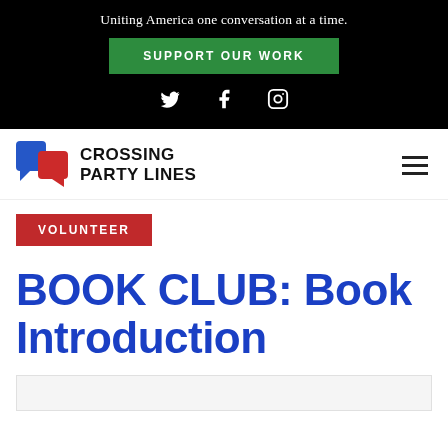Uniting America one conversation at a time.
SUPPORT OUR WORK
[Figure (illustration): Social media icons: Twitter bird, Facebook f, Instagram camera outline]
[Figure (logo): Crossing Party Lines logo: blue and red speech bubble icons with bold text CROSSING PARTY LINES]
VOLUNTEER
BOOK CLUB: Book Introduction